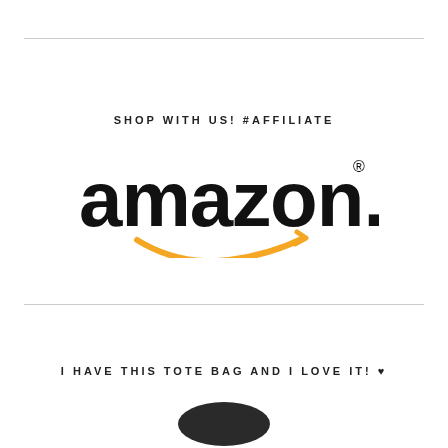SHOP WITH US! #AFFILIATE
[Figure (logo): Amazon.com logo with orange smile/arrow underneath the black text]
I HAVE THIS TOTE BAG AND I LOVE IT! ♥
[Figure (photo): Partial view of a dark tote bag at bottom of page]